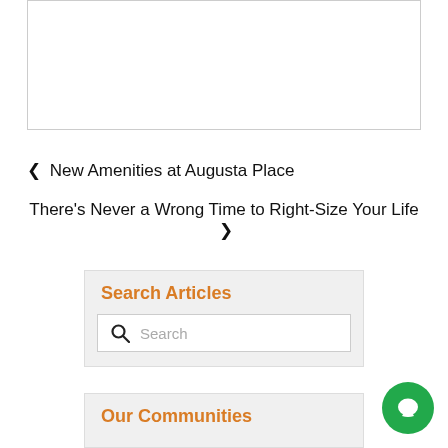[Figure (other): White rectangular box with border, partially visible at top of page]
< New Amenities at Augusta Place
There's Never a Wrong Time to Right-Size Your Life >
Search Articles
Search
Our Communities